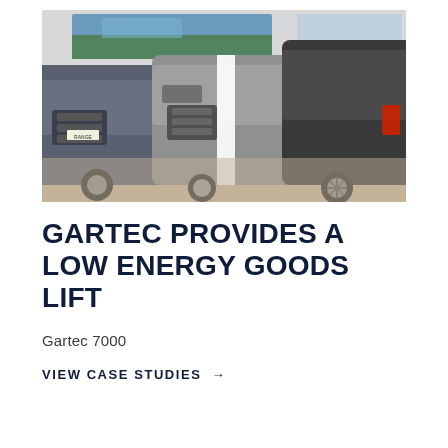[Figure (photo): Interior of a car dealership showroom with multiple Range Rover and Jaguar SUVs on display. Several grey and silver luxury vehicles are shown on a light-coloured floor with large windows in the background and a landscape mural on the wall.]
GARTEC PROVIDES A LOW ENERGY GOODS LIFT
Gartec 7000
VIEW CASE STUDIES →